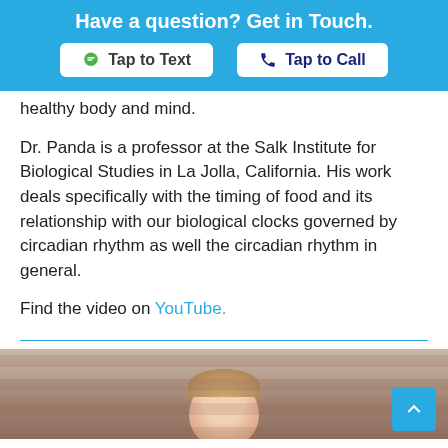Have a question? Get in Touch.
healthy body and mind.
Dr. Panda is a professor at the Salk Institute for Biological Studies in La Jolla, California. His work deals specifically with the timing of food and its relationship with our biological clocks governed by circadian rhythm as well the circadian rhythm in general.
Find the video on YouTube.
[Figure (photo): Partial photo of a person at the bottom of the page, appearing to show a face/head with a blurred brick background]